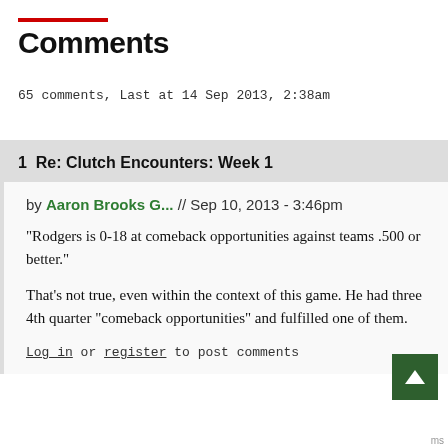Comments
65 comments, Last at 14 Sep 2013, 2:38am
1  Re: Clutch Encounters: Week 1
by Aaron Brooks G... // Sep 10, 2013 - 3:46pm
"Rodgers is 0-18 at comeback opportunities against teams .500 or better."
That's not true, even within the context of this game. He had three 4th quarter "comeback opportunities" and fulfilled one of them.
Log in or register to post comments